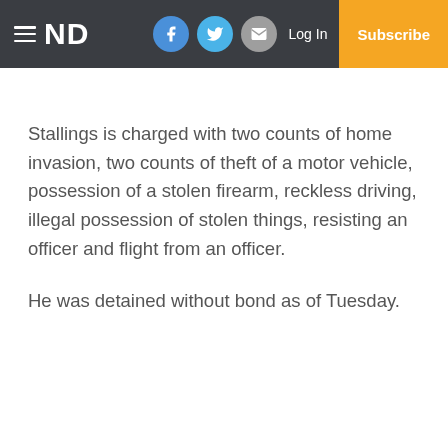≡ ND  Log In  Subscribe
Stallings is charged with two counts of home invasion, two counts of theft of a motor vehicle, possession of a stolen firearm, reckless driving, illegal possession of stolen things, resisting an officer and flight from an officer.
He was detained without bond as of Tuesday.